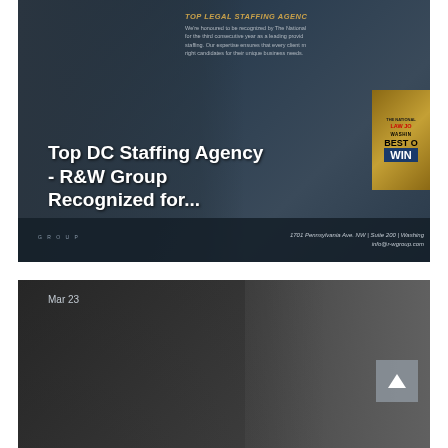[Figure (photo): Top card: A professional woman in a dark blazer against a dark blue background with text overlay. Top right shows a National Law Journal Washington DC Best Of award badge. The card overlays text reading 'Top Legal Staffing Agency' with body text about recognition. Main overlay reads 'Top DC Staffing Agency - R&W Group Recognized for...' with footer showing address and email info@r-wgroup.com]
Top DC Staffing Agency - R&W Group Recognized for...
Top Legal Staffing Agency
We're honoured to be recognized by The National for the third consecutive year as a leading provi staffing. Our expertise ensures that every client r right candidates for their unique business needs.
1701 Pennsylvania Ave. NW | Suite 200 | Washing info@r-wgroup.com
[Figure (photo): Bottom card: A professional man with glasses in a dark sweater, seated, looking thoughtful. Office/meeting room setting with large windows. Date label 'Mar 23' in top left. A grey scroll-to-top button with upward chevron arrow in the bottom right area.]
Mar 23